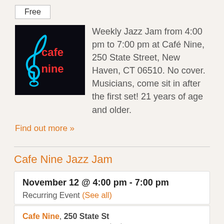Free
[Figure (logo): Cafe Nine neon sign logo — blue treble clef and red neon text reading 'cafe nine' on black background]
Weekly Jazz Jam from 4:00 pm to 7:00 pm at Café Nine, 250 State Street, New Haven, CT 06510.  No cover.  Musicians, come sit in after the first set!  21 years of age and older.
Find out more »
Cafe Nine Jazz Jam
November 12 @ 4:00 pm - 7:00 pm
Recurring Event (See all)
Cafe Nine, 250 State St New Haven, CT 06510 United States